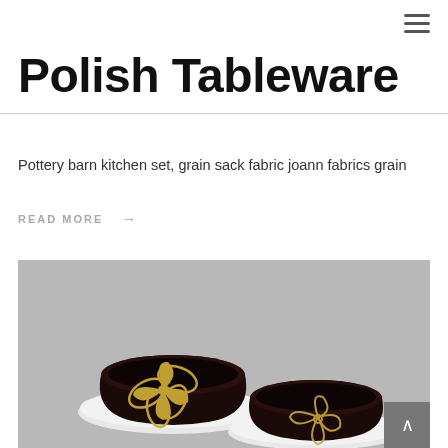≡
Polish Tableware
Pottery barn kitchen set, grain sack fabric joann fabrics grain
READ MORE →
[Figure (photo): Two dark brown/black ceramic bowls with gold floral designs, each sitting on a white saucer, photographed on a grey background.]